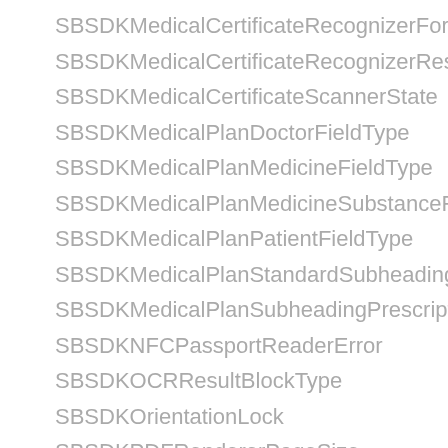SBSDKMedicalCertificateRecognizerFormType
SBSDKMedicalCertificateRecognizerResultPatientFieldType
SBSDKMedicalCertificateScannerState
SBSDKMedicalPlanDoctorFieldType
SBSDKMedicalPlanMedicineFieldType
SBSDKMedicalPlanMedicineSubstanceFieldType
SBSDKMedicalPlanPatientFieldType
SBSDKMedicalPlanStandardSubheadingFieldType
SBSDKMedicalPlanSubheadingPrescriptionFieldType
SBSDKNFCPassportReaderError
SBSDKOCRResultBlockType
SBSDKOrientationLock
SBSDKPDFRendererPageSize
SBSDKPageImageSource
SBSDKPageOrientation
SBSDKPayFormScannerRecognitionMode
SBSDKPayFormTokenType